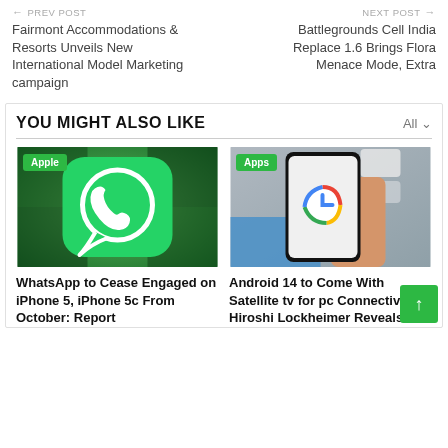← PREV POST | NEXT POST →
Fairmont Accommodations & Resorts Unveils New International Model Marketing campaign
Battlegrounds Cell India Replace 1.6 Brings Flora Menace Mode, Extra
YOU MIGHT ALSO LIKE
[Figure (photo): WhatsApp logo on green blurred background with Apple category badge]
[Figure (photo): Hand holding Android phone showing Google logo with Apps category badge]
WhatsApp to Cease Engaged on iPhone 5, iPhone 5c From October: Report
Android 14 to Come With Satellite tv for pc Connectivity, Hiroshi Lockheimer Reveals